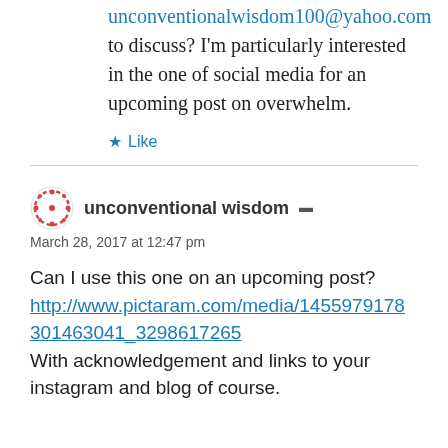unconventionalwisdom100@yahoo.com to discuss? I'm particularly interested in the one of social media for an upcoming post on overwhelm.
Like
unconventional wisdom
March 28, 2017 at 12:47 pm
Can I use this one on an upcoming post? http://www.pictaram.com/media/1455979178301463041_3298617265 With acknowledgement and links to your instagram and blog of course.